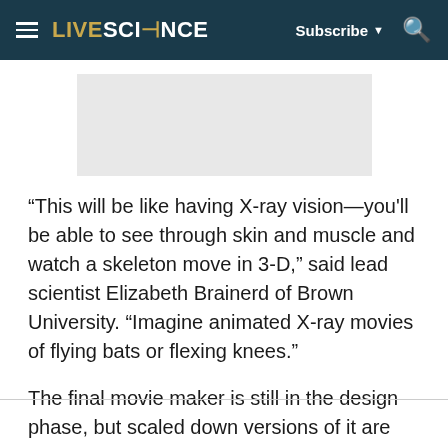LiveScience — Subscribe | Search
[Figure (other): Advertisement placeholder box (gray rectangle)]
“This will be like having X-ray vision—you'll be able to see through skin and muscle and watch a skeleton move in 3-D,” said lead scientist Elizabeth Brainerd of Brown University. “Imagine animated X-ray movies of flying bats or flexing knees.”
The final movie maker is still in the design phase, but scaled down versions of it are already proving a success.